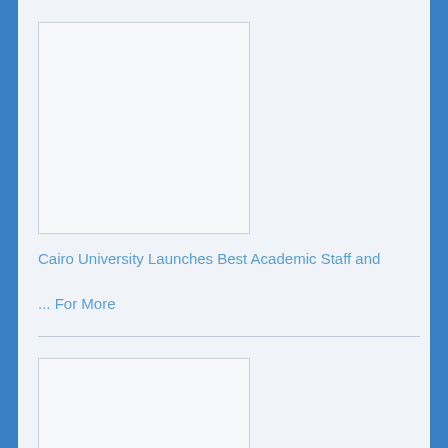[Figure (photo): Placeholder image box for Cairo University academic staff article]
Cairo University Launches Best Academic Staff and
... For More
[Figure (photo): Placeholder image box for International Arab Forensic Science article]
2nd International Arab Forensic Science and